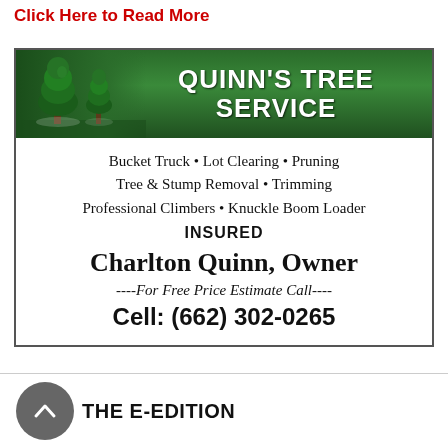Click Here to Read More
[Figure (illustration): Quinn's Tree Service advertisement with green banner header showing two trees and company name, listing services: Bucket Truck, Lot Clearing, Pruning, Tree & Stump Removal, Trimming, Professional Climbers, Knuckle Boom Loader, INSURED, Charlton Quinn Owner, For Free Price Estimate Call, Cell: (662) 302-0265]
THE E-EDITION